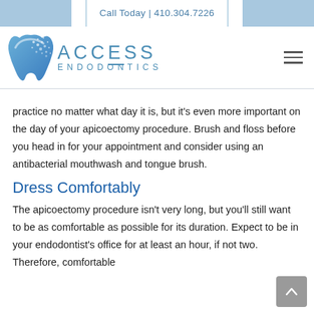Call Today | 410.304.7226
[Figure (logo): Access Endodontics logo with stylized tooth icon in blue and text ACCESS ENDODONTICS]
practice no matter what day it is, but it's even more important on the day of your apicoectomy procedure. Brush and floss before you head in for your appointment and consider using an antibacterial mouthwash and tongue brush.
Dress Comfortably
The apicoectomy procedure isn't very long, but you'll still want to be as comfortable as possible for its duration. Expect to be in your endodontist's office for at least an hour, if not two. Therefore, comfortable